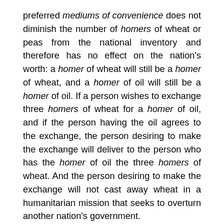preferred mediums of convenience does not diminish the number of homers of wheat or peas from the national inventory and therefore has no effect on the nation's worth: a homer of wheat will still be a homer of wheat, and a homer of oil will still be a homer of oil. If a person wishes to exchange three homers of wheat for a homer of oil, and if the person having the oil agrees to the exchange, the person desiring to make the exchange will deliver to the person who has the homer of oil the three homers of wheat. And the person desiring to make the exchange will not cast away wheat in a humanitarian mission that seeks to overturn another nation's government.
In a system of just weights and measures, no money is needed: exchanges can be directly made in the standard measure of the land. Money will only exist as a medium of convenience. The blacksmith need not be paid in money, but can be paid directly in homers. And the